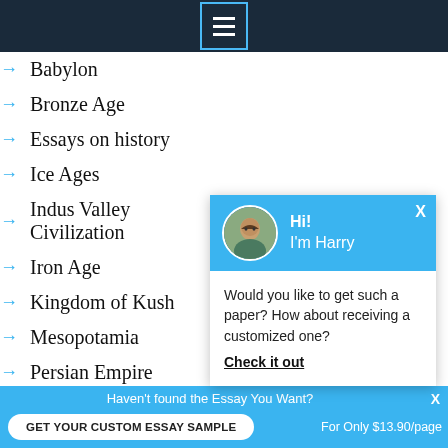[Figure (screenshot): Top navigation bar with dark background and hamburger menu icon]
→ Babylon
→ Bronze Age
→ Essays on history
→ Ice Ages
→ Indus Valley Civilization
→ Iron Age
→ Kingdom of Kush
→ Mesopotamia
→ Persian Empire
→ Phoenicia
[Figure (screenshot): Chat popup with avatar of Harry, greeting Hi! I'm Harry, and message: Would you like to get such a paper? How about receiving a customized one? Check it out]
Haven't found the Essay You Want?
GET YOUR CUSTOM ESSAY SAMPLE
For Only $13.90/page